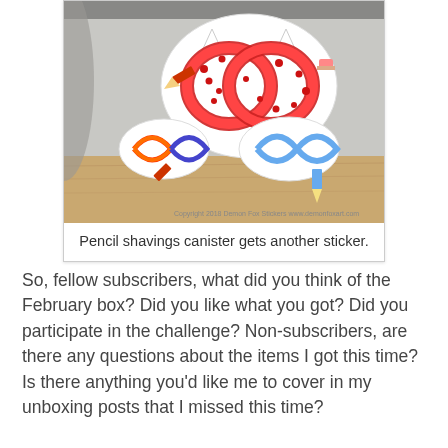[Figure (photo): A metallic pencil shavings canister with colorful stickers on it. The main sticker shows pencils twisted into infinity/owl shapes. One large red patterned pencil sticker, and two smaller pencil loop stickers in red/purple and light blue. A copyright watermark is at the bottom of the photo.]
Pencil shavings canister gets another sticker.
So, fellow subscribers, what did you think of the February box?  Did you like what you got?  Did you participate in the challenge?  Non-subscribers, are there any questions about the items I got this time?  Is there anything you'd like me to cover in my unboxing posts that I missed this time?